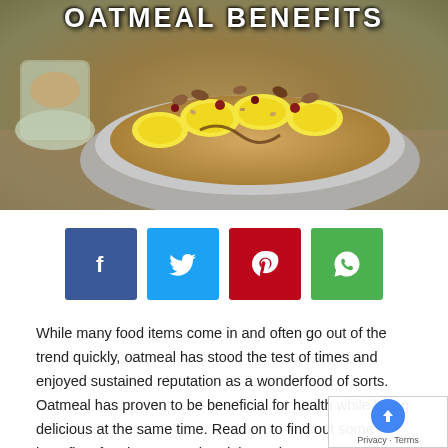[Figure (photo): Bowl of oatmeal topped with banana slices, nuts, dried fruit, and granola; jar of oats on the left side; background is a rustic surface]
OATMEAL BENEFITS
[Figure (infographic): Four social media share buttons: Facebook (blue), Twitter (light blue), Pinterest (red), WhatsApp (green)]
While many food items come in and often go out of the trend quickly, oatmeal has stood the test of times and enjoyed sustained reputation as a wonderfood of sorts. Oatmeal has proven to be beneficial for health while being delicious at the same time. Read on to find out some benefits of eating oatmeal and the various ways in which you can consume it:
The Insurmountable Health Benefits of Oatmeal